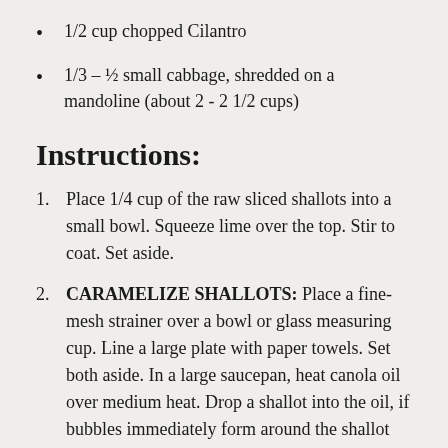1/2 cup chopped Cilantro
1/3 – ½ small cabbage, shredded on a mandoline (about 2 - 2 1/2 cups)
Instructions:
1. Place 1/4 cup of the raw sliced shallots into a small bowl. Squeeze lime over the top. Stir to coat. Set aside.
2. CARAMELIZE SHALLOTS: Place a fine-mesh strainer over a bowl or glass measuring cup. Line a large plate with paper towels. Set both aside. In a large saucepan, heat canola oil over medium heat. Drop a shallot into the oil, if bubbles immediately form around the shallot the oil is hot enough. Carefully lower the rest of the shallots into the oil.